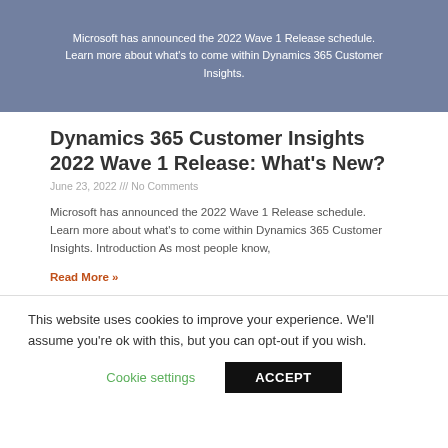[Figure (other): Blue-gray hero banner with white text: Microsoft has announced the 2022 Wave 1 Release schedule. Learn more about what's to come within Dynamics 365 Customer Insights.]
Dynamics 365 Customer Insights 2022 Wave 1 Release: What's New?
June 23, 2022 /// No Comments
Microsoft has announced the 2022 Wave 1 Release schedule. Learn more about what's to come within Dynamics 365 Customer Insights. Introduction As most people know,
Read More »
This website uses cookies to improve your experience. We'll assume you're ok with this, but you can opt-out if you wish.
Cookie settings
ACCEPT